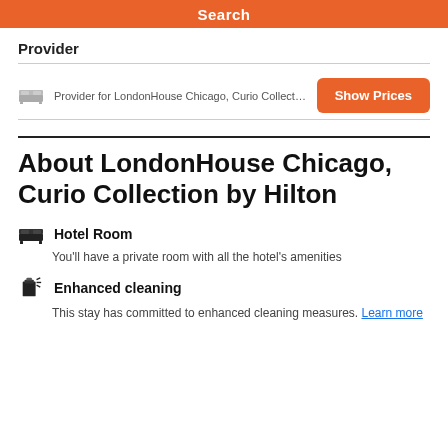Search
Provider
Provider for LondonHouse Chicago, Curio Collection by Hilt
About LondonHouse Chicago, Curio Collection by Hilton
Hotel Room
You'll have a private room with all the hotel's amenities
Enhanced cleaning
This stay has committed to enhanced cleaning measures. Learn more